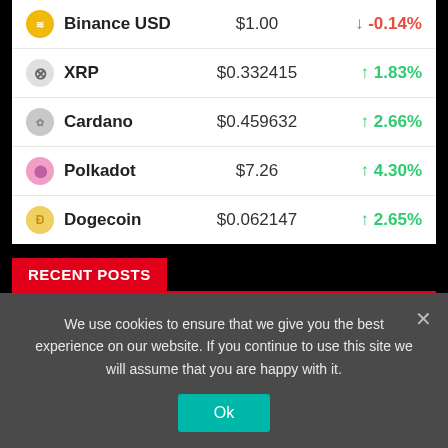| Coin | Price | Change |
| --- | --- | --- |
| Binance USD | $1.00 | ↓ -0.14% |
| XRP | $0.332415 | ↑ 1.83% |
| Cardano | $0.459632 | ↑ 2.66% |
| Polkadot | $7.26 | ↑ 4.30% |
| Dogecoin | $0.062147 | ↑ 2.65% |
RECENT POSTS
A Complete Guide to Crypto Minting
Invest 505 – Is Invest 505 Scam or a Proper Broker?
Helium Developers Might Ditch It in Favor of Solana
We use cookies to ensure that we give you the best experience on our website. If you continue to use this site we will assume that you are happy with it.